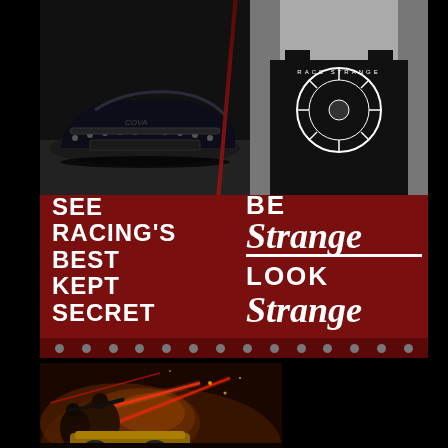[Figure (photo): Top banner ad with dark red background. Left side shows a black race car (low front view). Right side shows a person wearing a black 'Race Strange' branded tank top (greyscale). Text overlays: left side reads 'SEE RACING'S BEST KEPT SECRET', right side reads 'BE Strange LOOK Strange'. Bottom has a row of rivets.]
[Figure (illustration): Dark fantasy/sci-fi battle scene with soldiers, laser beams, and a golden vehicle, set in a fiery orange/red atmosphere.]